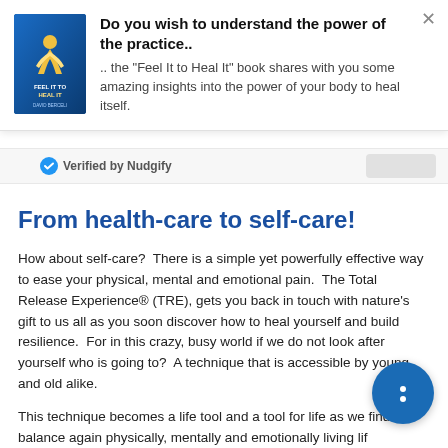[Figure (screenshot): Popup notification banner with book cover image for 'Feel It to Heal It', bold title 'Do you wish to understand the power of the practice..', and body text about the book sharing insights on the body's healing power. An X close button is in the top right.]
Verified by Nudgify
From health-care to self-care!
How about self-care?  There is a simple yet powerfully effective way to ease your physical, mental and emotional pain.  The Total Release Experience® (TRE), gets you back in touch with nature's gift to us all as you soon discover how to heal yourself and build resilience.  For in this crazy, busy world if we do not look after yourself who is going to?  A technique that is accessible by young and old alike.
This technique becomes a life tool and a tool for life as we find balance again physically, mentally and emotionally living life to the full.  Workshops, Skype or private sessions there is always a way to access our expert tuition.  We give the relevant resources and the ongoing support as required to ensure you find confidence and feel...